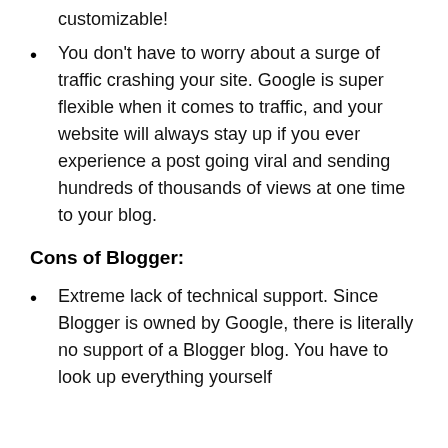customizable!
You don’t have to worry about a surge of traffic crashing your site. Google is super flexible when it comes to traffic, and your website will always stay up if you ever experience a post going viral and sending hundreds of thousands of views at one time to your blog.
Cons of Blogger:
Extreme lack of technical support. Since Blogger is owned by Google, there is literally no support of a Blogger blog. You have to look up everything yourself